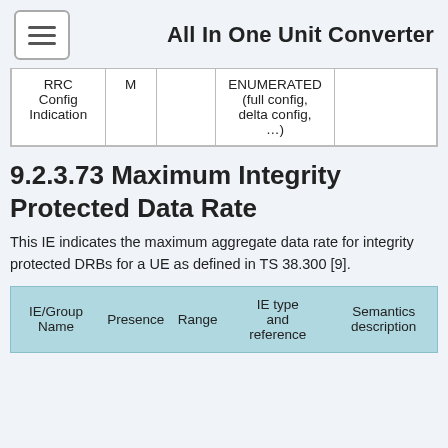All In One Unit Converter
| IE/Group Name | Presence | Range | IE type and reference | Semantics description |
| --- | --- | --- | --- | --- |
| RRC Config Indication | M |  | ENUMERATED (full config, delta config, …) |  |
9.2.3.73 Maximum Integrity Protected Data Rate
This IE indicates the maximum aggregate data rate for integrity protected DRBs for a UE as defined in TS 38.300 [9].
| IE/Group Name | Presence | Range | IE type and reference | Semantics description |
| --- | --- | --- | --- | --- |